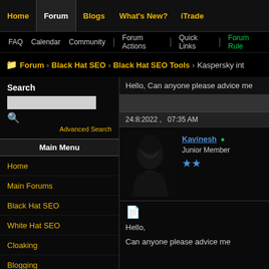Home | Forum | Blogs | What's New? | iTrade
FAQ  Calendar  Community  Forum Actions  Quick Links  Forum Rules
Forum > Black Hat SEO > Black Hat SEO Tools > Kaspersky int
Search
Advanced Search
Main Menu
Home
Main Forums
Black Hat SEO
White Hat SEO
Cloaking
Blogging
Black Hat Tools
Hello, Can anyone please advice me
24:8:2022 ,   07:35 AM
Kavinesh • Junior Member
Hello,

Can anyone please advice me